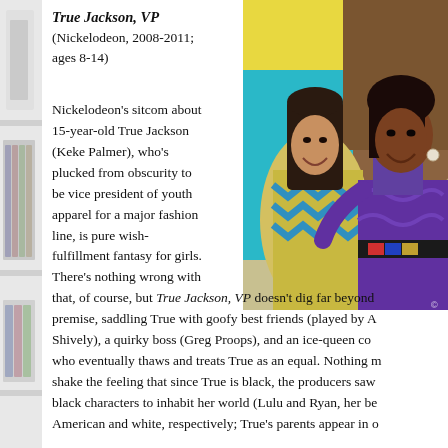[Figure (photo): Two young women posing together — one in a yellow patterned top, one in a purple ruffled dress — against a teal and brown background]
True Jackson, VP
(Nickelodeon, 2008-2011; ages 8-14)
Nickelodeon's sitcom about 15-year-old True Jackson (Keke Palmer), who's plucked from obscurity to be vice president of youth apparel for a major fashion line, is pure wish-fulfillment fantasy for girls. There's nothing wrong with that, of course, but True Jackson, VP doesn't dig far beyond its premise, saddling True with goofy best friends (played by A... Shively), a quirky boss (Greg Proops), and an ice-queen co... who eventually thaws and treats True as an equal. Nothing m... shake the feeling that since True is black, the producers saw... black characters to inhabit her world (Lulu and Ryan, her be... American and white, respectively; True's parents appear in o...